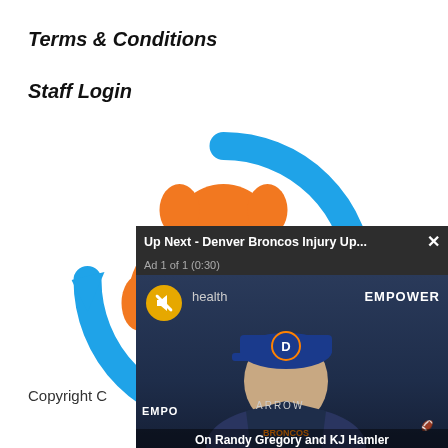Terms & Conditions
Staff Login
[Figure (logo): Belly Up Sports logo: orange piggy-bank mascot shape with blue circular arrow ring, text 'BELLY UP x SPORTS' in white on orange]
Copyright C
[Figure (screenshot): Video popup overlay showing Denver Broncos press conference. Header reads 'Up Next - Denver Broncos Injury Up... x'. Ad label: 'Ad 1 of 1 (0:30)'. Video shows a man in a blue Denver Broncos cap at a podium. Branding: EMPOWER, ARROW, BRONCOS. Caption: 'On Randy Gregory and KJ Hamler']